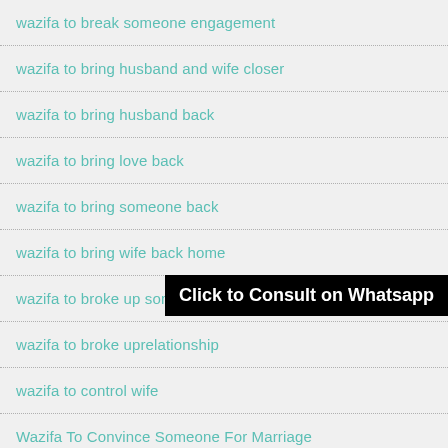wazifa to break someone engagement
wazifa to bring husband and wife closer
wazifa to bring husband back
wazifa to bring love back
wazifa to bring someone back
wazifa to bring wife back home
[Figure (other): Black banner overlay with text: Click to Consult on Whatsapp]
wazifa to broke up someone engagement
wazifa to broke uprelationship
wazifa to control wife
Wazifa To Convince Someone For Marriage